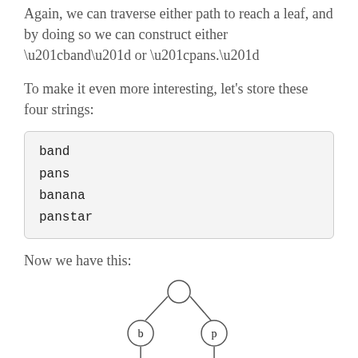Again, we can traverse either path to reach a leaf, and by doing so we can construct either “band” or “pans.”
To make it even more interesting, let’s store these four strings:
band
pans
banana
panstar
Now we have this:
[Figure (flowchart): A trie tree diagram showing nodes connected by arrows. Root node (empty circle) branches to 'b' and 'p'. 'b' leads to 'a', then 'n', then two downward arrows. 'p' leads to 'a', then 'n', then a downward arrow.]